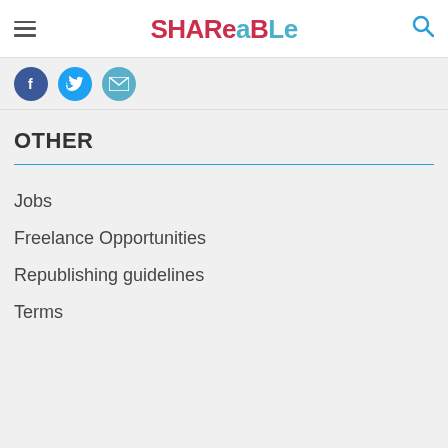SHAReable
[Figure (logo): Shareable website logo with SHARe in red/pink and aBLe in blue]
[Figure (infographic): Three social media icon circles: Facebook (blue), Twitter (light blue), Email (teal)]
OTHER
Jobs
Freelance Opportunities
Republishing guidelines
Terms